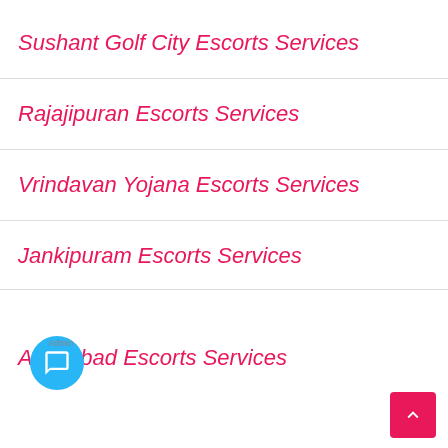Sushant Golf City Escorts Services
Rajajipuran Escorts Services
Vrindavan Yojana Escorts Services
Jankipuram Escorts Services
Aminabad Escorts Services